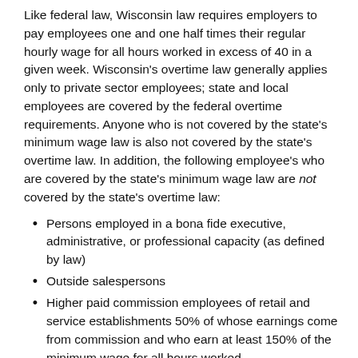Like federal law, Wisconsin law requires employers to pay employees one and one half times their regular hourly wage for all hours worked in excess of 40 in a given week. Wisconsin's overtime law generally applies only to private sector employees; state and local employees are covered by the federal overtime requirements. Anyone who is not covered by the state's minimum wage law is also not covered by the state's overtime law. In addition, the following employee's who are covered by the state's minimum wage law are not covered by the state's overtime law:
Persons employed in a bona fide executive, administrative, or professional capacity (as defined by law)
Outside salespersons
Higher paid commission employees of retail and service establishments 50% of whose earnings come from commission and who earn at least 150% of the minimum wage for all hours worked